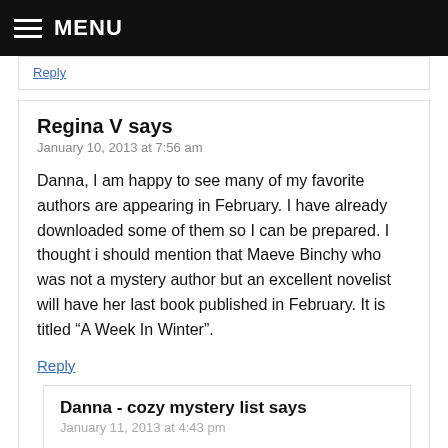MENU
Reply
Regina V says
January 10, 2013 at 7:56 am
Danna, I am happy to see many of my favorite authors are appearing in February. I have already downloaded some of them so I can be prepared. I thought i should mention that Maeve Binchy who was not a mystery author but an excellent novelist will have her last book published in February. It is titled “A Week In Winter”.
Reply
Danna - cozy mystery list says
January 11, 2013 at 4:43 pm
Regina, I just updated Maeve Binchy's page on the site. Thank you!